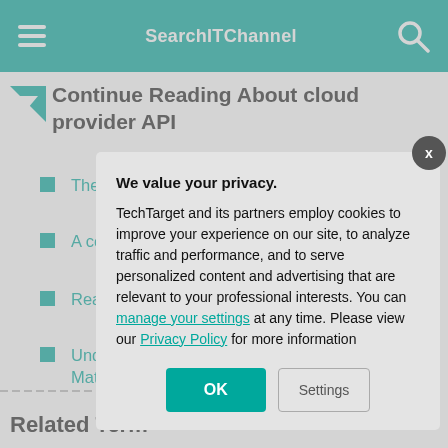SearchITChannel
Continue Reading About cloud provider API
The northbound API guidebook
A comprehensive guide to Web services APIs
Read t[runcated by modal]
Unders[tanding] Matter[s — truncated by modal]
Related Term
We value your privacy. TechTarget and its partners employ cookies to improve your experience on our site, to analyze traffic and performance, and to serve personalized content and advertising that are relevant to your professional interests. You can manage your settings at any time. Please view our Privacy Policy for more information